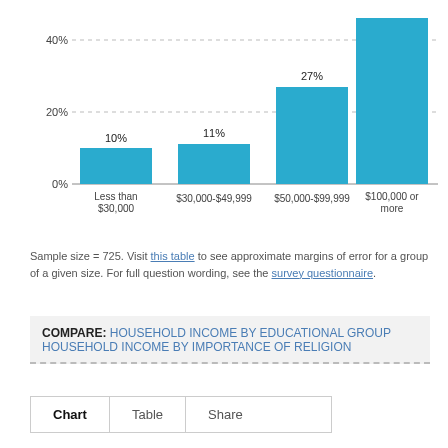[Figure (bar-chart): ]
Sample size = 725. Visit this table to see approximate margins of error for a group of a given size. For full question wording, see the survey questionnaire.
COMPARE: HOUSEHOLD INCOME BY EDUCATIONAL GROUP   HOUSEHOLD INCOME BY IMPORTANCE OF RELIGION
Chart   Table   Share